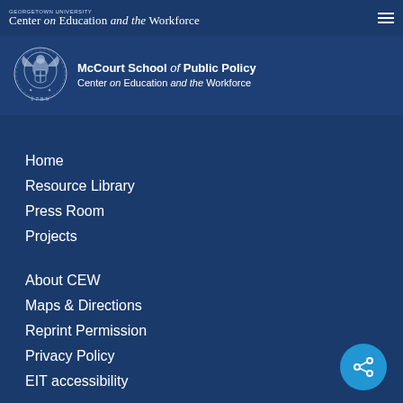GEORGETOWN UNIVERSITY Center on Education and the Workforce
[Figure (logo): Georgetown University seal (1789) alongside McCourt School of Public Policy / Center on Education and the Workforce wordmark]
Home
Resource Library
Press Room
Projects
About CEW
Maps & Directions
Reprint Permission
Privacy Policy
EIT accessibility